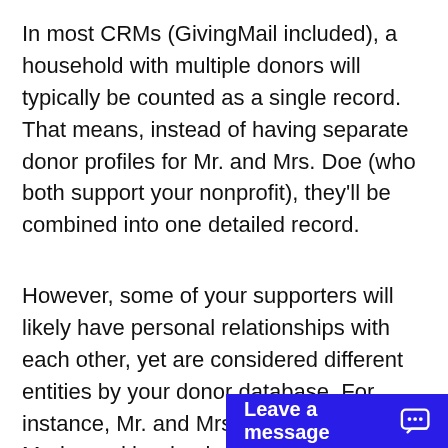In most CRMs (GivingMail included), a household with multiple donors will typically be counted as a single record. That means, instead of having separate donor profiles for Mr. and Mrs. Doe (who both support your nonprofit), they'll be combined into one detailed record.
However, some of your supporters will likely have personal relationships with each other, yet are considered different entities by your donor database. For instance, Mr. and Mrs. Doe's daughter, Maria, and her husband, Carl, also give to your organization. Although the two couples will be organized as separa